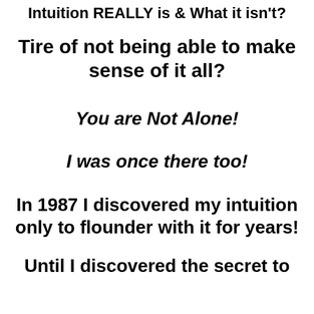Intuition REALLY is & What it isn't?
Tire of not being able to make sense of it all?
You are Not Alone!
I was once there too!
In 1987 I discovered my intuition only to flounder with it for years!
Until I discovered the secret to